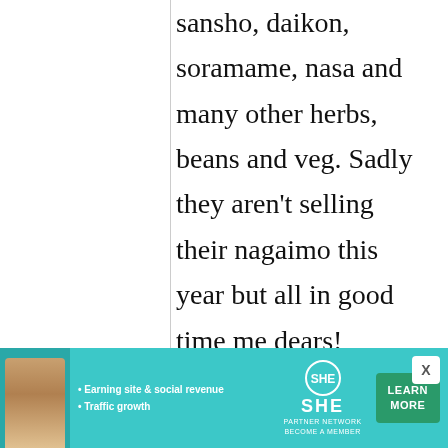out for fresh shiso, sansho, daikon, soramame, nasa and many other herbs, beans and veg. Sadly they aren't selling their nagaimo this year but all in good time me dears! Preston Road is full of Chinese, Thai and Oriental food shops
[Figure (other): Advertisement banner for SHE Partner Network. Features a woman's photo, bullet points 'Earning site & social revenue' and 'Traffic growth', SHE Partner Network logo, and a 'LEARN MORE' button.]